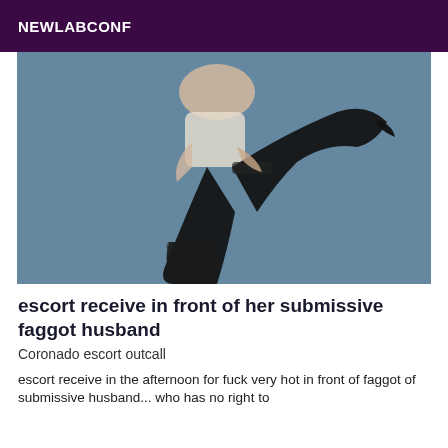NEWLABCONF
[Figure (photo): A person wearing black thigh-high stockings, black knee-high boots and high-heeled stiletto boots, with legs raised against a blue-grey background, wearing a short skirt.]
escort receive in front of her submissive faggot husband
Coronado escort outcall
escort receive in the afternoon for fuck very hot in front of faggot of submissive husband... who has no right to